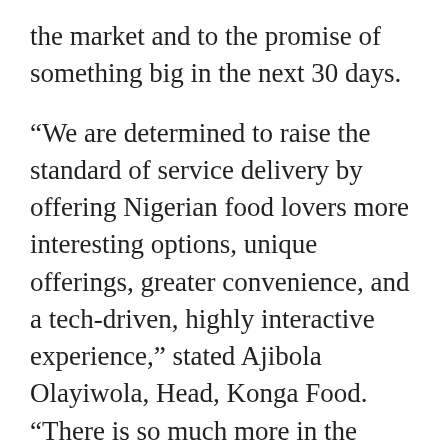the market and to the promise of something big in the next 30 days.
“We are determined to raise the standard of service delivery by offering Nigerian food lovers more interesting options, unique offerings, greater convenience, and a tech-driven, highly interactive experience,” stated Ajibola Olayiwola, Head, Konga Food. “There is so much more in the pipeline that we will soon be rolling out to delight our customers in the coming days and we urge everyone to stay onboard by following us on social media via @konga_food